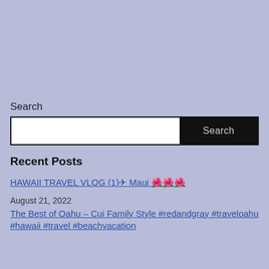Search
[Figure (screenshot): Search input box with white text field and black Search button]
Recent Posts
HAWAII TRAVEL VLOG (1)✈ Maui 🌺🌺🌺
August 21, 2022
The Best of Oahu – Cui Family Style #redandgray #traveloahu #hawaii #travel #beachvacation